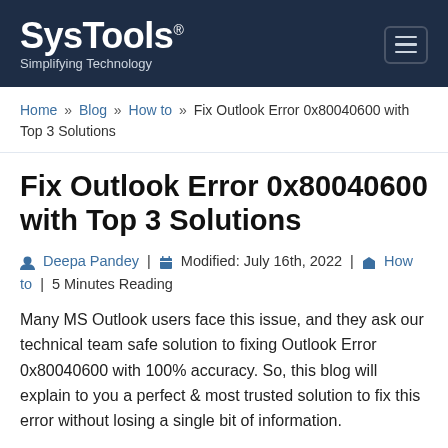SysTools® Simplifying Technology
Home » Blog » How to » Fix Outlook Error 0x80040600 with Top 3 Solutions
Fix Outlook Error 0x80040600 with Top 3 Solutions
Deepa Pandey | Modified: July 16th, 2022 | How to | 5 Minutes Reading
Many MS Outlook users face this issue, and they ask our technical team safe solution to fixing Outlook Error 0x80040600 with 100% accuracy. So, this blog will explain to you a perfect & most trusted solution to fix this error without losing a single bit of information.